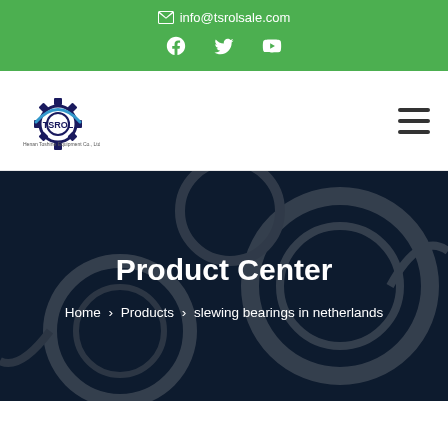info@tsrolsale.com
[Figure (logo): TSROL company logo with gear icon]
Product Center
Home > Products > slewing bearings in netherlands